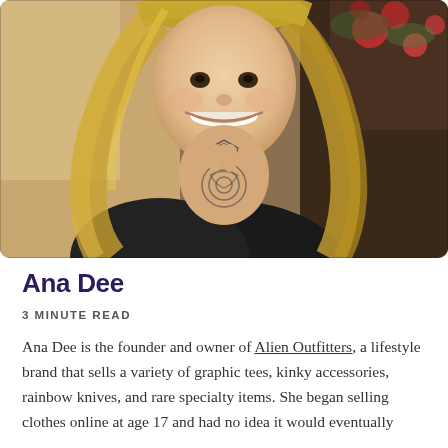[Figure (photo): Smiling woman with long blonde hair, tattoos on neck and hand, resting chin on tattooed hand, wearing dark clothing, photographed outdoors with red flowers visible in background]
Ana Dee
3 MINUTE READ
Ana Dee is the founder and owner of Alien Outfitters, a lifestyle brand that sells a variety of graphic tees, kinky accessories, rainbow knives, and rare specialty items. She began selling clothes online at age 17 and had no idea it would eventually